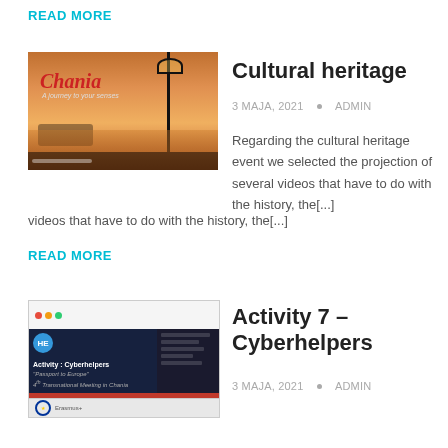READ MORE
[Figure (photo): Thumbnail image of Chania waterfront at sunset with a bicycle and lamp post]
Cultural heritage
3 MAJA, 2021 • ADMIN
Regarding the cultural heritage event we selected the projection of several videos that have to do with the history, the[...]
READ MORE
[Figure (screenshot): Screenshot of a presentation slide titled Activity: Cyberhelpers from Passport to Europe project]
Activity 7 – Cyberhelpers
3 MAJA, 2021 • ADMIN